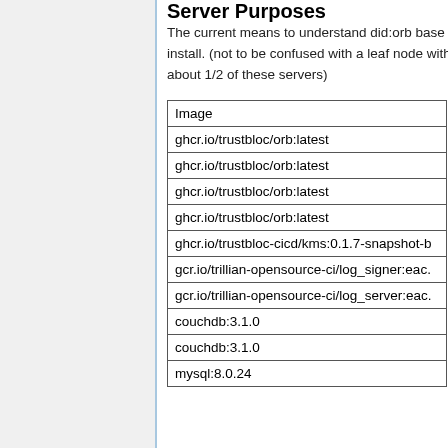Server Purposes
The current means to understand did:orb base install. (not to be confused with a leaf node with about 1/2 of these servers)
| Image |
| --- |
| ghcr.io/trustbloc/orb:latest |
| ghcr.io/trustbloc/orb:latest |
| ghcr.io/trustbloc/orb:latest |
| ghcr.io/trustbloc/orb:latest |
| ghcr.io/trustbloc-cicd/kms:0.1.7-snapshot-b |
| gcr.io/trillian-opensource-ci/log_signer:eac. |
| gcr.io/trillian-opensource-ci/log_server:eac. |
| couchdb:3.1.0 |
| couchdb:3.1.0 |
| mysql:8.0.24 |